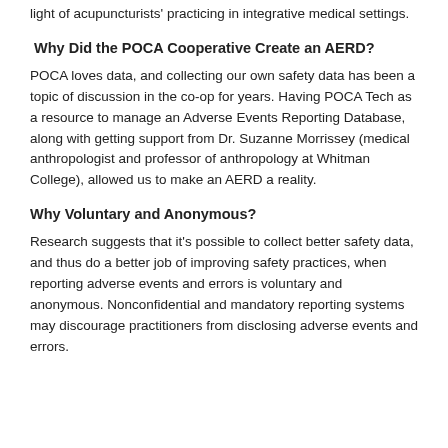light of acupuncturists' practicing in integrative medical settings.
Why Did the POCA Cooperative Create an AERD?
POCA loves data, and collecting our own safety data has been a topic of discussion in the co-op for years. Having POCA Tech as a resource to manage an Adverse Events Reporting Database, along with getting support from Dr. Suzanne Morrissey (medical anthropologist and professor of anthropology at Whitman College), allowed us to make an AERD a reality.
Why Voluntary and Anonymous?
Research suggests that it's possible to collect better safety data, and thus do a better job of improving safety practices, when reporting adverse events and errors is voluntary and anonymous. Nonconfidential and mandatory reporting systems may discourage practitioners from disclosing adverse events and errors.